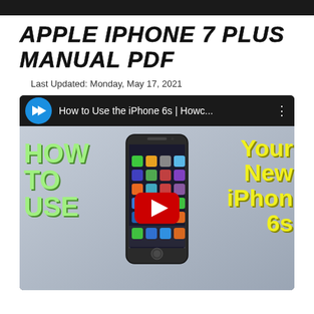APPLE IPHONE 7 PLUS MANUAL PDF
Last Updated: Monday, May 17, 2021
[Figure (screenshot): YouTube video thumbnail showing 'How to Use the iPhone 6s | Howc...' with a play button overlay, text HOW TO USE on the left in green, Your New iPhone 6s on the right in yellow, and an iPhone 6s in the center.]